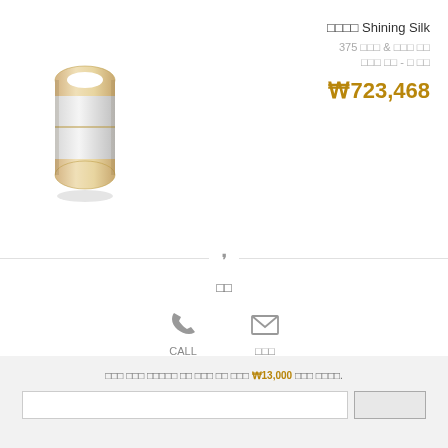[Figure (photo): Gold and white ceramic ring product photo on white background]
□□□□ Shining Silk
375 □□□ & □□□ □□
□□□ □□ - □ □□
₩723,468
❜
□□
CALL
□□□
□□□ - □□□ 15:00-21:00
service@glamira.kr
□□□ □□□ □□□□□ □□ □□□ □□ □□□ ₩13,000 □□□ □□□□.